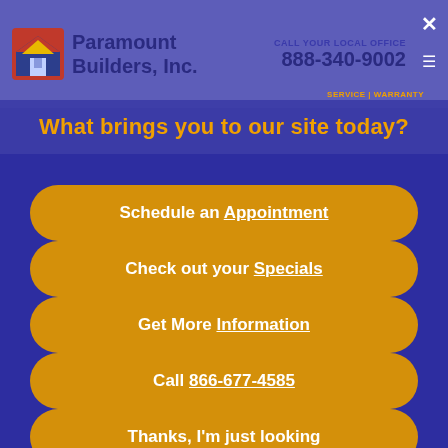[Figure (logo): Paramount Builders, Inc. logo with house icon]
CALL YOUR LOCAL OFFICE: 888-340-9002
What brings you to our site today?
Schedule an Appointment
Check out your Specials
Get More Information
Call 866-677-4585
Thanks, I'm just looking